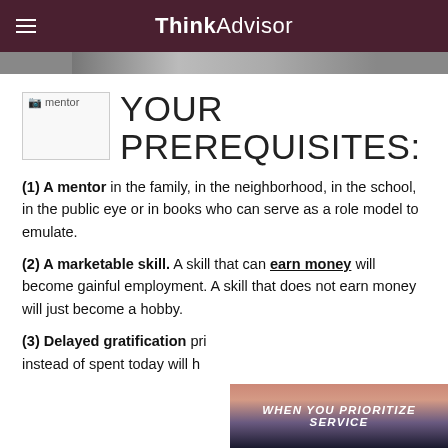ThinkAdvisor
[Figure (photo): Partial image strip showing a cropped photo, likely a person, in the header area below the ThinkAdvisor logo.]
YOUR PREREQUISITES:
(1) A mentor in the family, in the neighborhood, in the school, in the public eye or in books who can serve as a role model to emulate.
(2) A marketable skill. A skill that can earn money will become gainful employment. A skill that does not earn money will just become a hobby.
(3) Delayed gratification pri... instead of spent today will h...
[Figure (photo): Overlay banner image at bottom right with mountain/sunset background and text: WHEN YOU PRIORITIZE SERVICE]